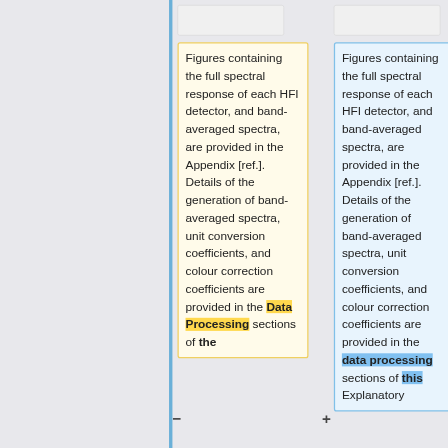Figures containing the full spectral response of each HFI detector, and band-averaged spectra, are provided in the Appendix [ref.]. Details of the generation of band-averaged spectra, unit conversion coefficients, and colour correction coefficients are provided in the Data Processing sections of the
Figures containing the full spectral response of each HFI detector, and band-averaged spectra, are provided in the Appendix [ref.]. Details of the generation of band-averaged spectra, unit conversion coefficients, and colour correction coefficients are provided in the data processing sections of this Explanatory